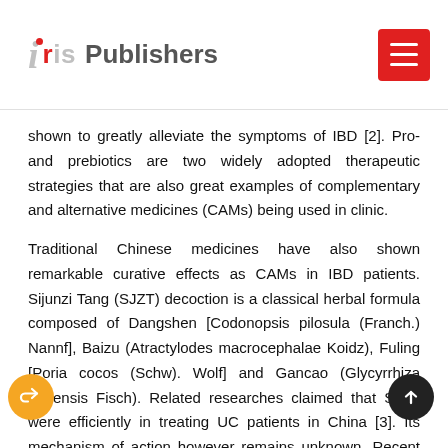Iris Publishers
shown to greatly alleviate the symptoms of IBD [2]. Pro- and prebiotics are two widely adopted therapeutic strategies that are also great examples of complementary and alternative medicines (CAMs) being used in clinic.
Traditional Chinese medicines have also shown remarkable curative effects as CAMs in IBD patients. Sijunzi Tang (SJZT) decoction is a classical herbal formula composed of Dangshen [Codonopsis pilosula (Franch.) Nannf], Baizu (Atractylodes macrocephalae Koidz), Fuling [Poria cocos (Schw). Wolf] and Gancao (Glycyrrhiza uralensis Fisch). Related researches claimed that SJZT were efficiently in treating UC patients in China [3]. Its mechanism of action however remains unknown. Recent study suggests that Chinese herbal medicines could potentially be used to modulate the intestinal microbiome. Treatment with Gegen Qinlian decoction for example promotes the growth of beneficial bacteria, especially Faecali